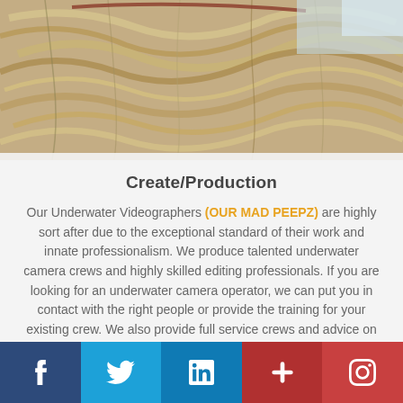[Figure (photo): Close-up photo of frayed rope or dried seaweed/plant fibers in tan and beige tones against a light blue background]
Create/Production
Our Underwater Videographers (OUR MAD PEEPZ) are highly sort after due to the exceptional standard of their work and innate professionalism. We produce talented underwater camera crews and highly skilled editing professionals. If you are looking for an underwater camera operator, we can put you in contact with the right people or provide the training for your existing crew. We also provide full service crews and advice on anything from Safety divers
[Figure (infographic): Social media footer bar with 5 icons: Facebook (dark blue), Twitter (blue), LinkedIn (mid blue), Pinterest/other (dark red), Instagram (red)]